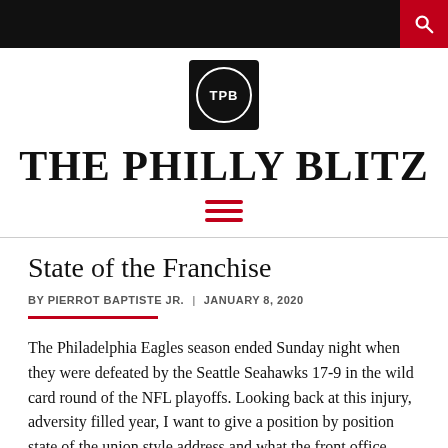THE PHILLY BLITZ
State of the Franchise
BY PIERROT BAPTISTE JR.  |  JANUARY 8, 2020
The Philadelphia Eagles season ended Sunday night when they were defeated by the Seattle Seahawks 17-9 in the wild card round of the NFL playoffs. Looking back at this injury, adversity filled year, I want to give a position by position state of the union style address and what the front office, (General Manager Howie